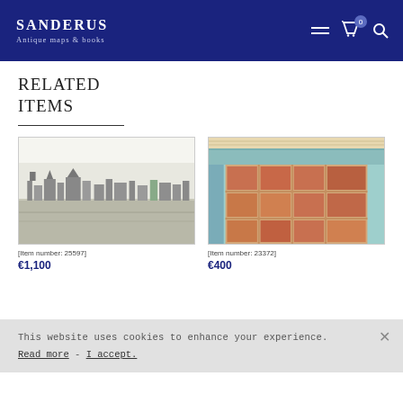SANDERUS Antique maps & books
RELATED ITEMS
[Figure (photo): Antique black and white engraving of a city panorama, item number 25597]
[Item number: 25597]
€1,100
[Figure (photo): Antique colored map/bird's eye view of a city with streets and waterways, item number 23372]
[Item number: 23372]
€400
This website uses cookies to enhance your experience. Read more - I accept.